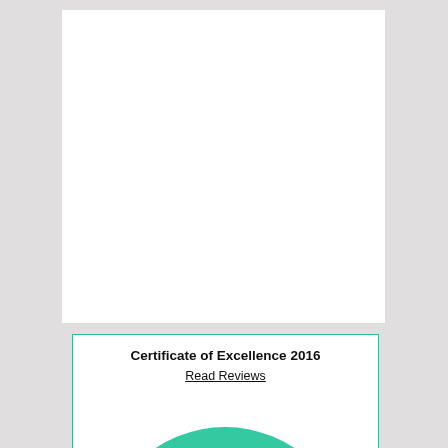[Figure (other): White rectangular block, upper portion of page, blank content area]
[Figure (logo): TripAdvisor Certificate of Excellence 2016 widget. Contains bold text 'Certificate of Excellence 2016', underlined link text 'Read Reviews', and TripAdvisor owl logo on a green semicircle background with 'Tripadvisor' text. Widget has a teal/green border.]
[Figure (screenshot): Blurred/redacted map or web widget screenshot showing a blue banner bar at top, a greenish blob shape in center (possibly a map), and another blue bar at the bottom. Content is intentionally obscured.]